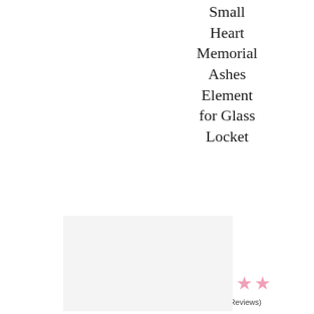Small Heart Memorial Ashes Element for Glass Locket
★★★★★
(7 Verified Reviews)
From £39.00
[Figure (photo): Light grey/white rectangular product image placeholder in the lower left area of the page]